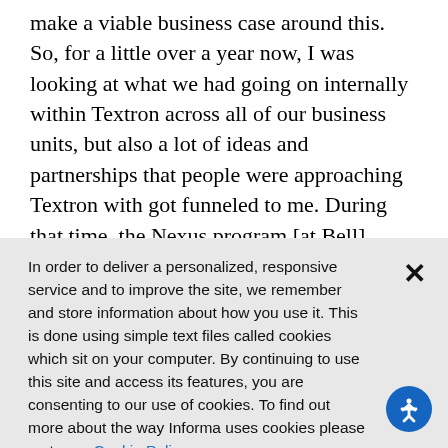make a viable business case around this. So, for a little over a year now, I was looking at what we had going on internally within Textron across all of our business units, but also a lot of ideas and partnerships that people were approaching Textron with got funneled to me. During that time, the Nexus program [at Bell] started to move over to me because with everything that Bell had going on at that point in time, as well as the fact that to make an air taxi work, you were going to need fixed wing expertise, rotary craft expertise. So, we decided to centralize all
In order to deliver a personalized, responsive service and to improve the site, we remember and store information about how you use it. This is done using simple text files called cookies which sit on your computer. By continuing to use this site and access its features, you are consenting to our use of cookies. To find out more about the way Informa uses cookies please go to our Cookie Policy page.